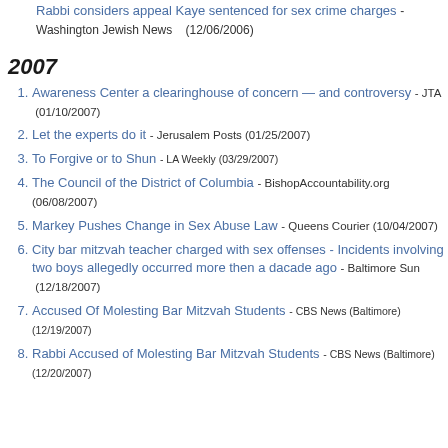Rabbi considers appeal Kaye sentenced for sex crime charges - Washington Jewish News (12/06/2006)
2007
Awareness Center a clearinghouse of concern — and controversy - JTA (01/10/2007)
Let the experts do it - Jerusalem Posts (01/25/2007)
To Forgive or to Shun - LA Weekly (03/29/2007)
The Council of the District of Columbia - BishopAccountability.org (06/08/2007)
Markey Pushes Change in Sex Abuse Law - Queens Courier (10/04/2007)
City bar mitzvah teacher charged with sex offenses - Incidents involving two boys allegedly occurred more then a dacade ago - Baltimore Sun (12/18/2007)
Accused Of Molesting Bar Mitzvah Students - CBS News (Baltimore) (12/19/2007)
Rabbi Accused of Molesting Bar Mitzvah Students - CBS News (Baltimore) (12/20/2007)